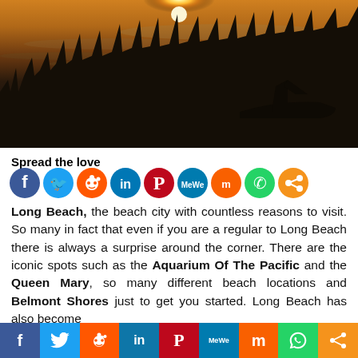[Figure (photo): Sunset over a marina with boat silhouettes, palm trees, and buildings against a dramatic orange and golden sky with wispy clouds reflecting on the water.]
Spread the love
[Figure (infographic): Row of social media share icons: Facebook (blue), Twitter (light blue), Reddit (orange), LinkedIn (blue), Pinterest (red), MeWe (teal), Mix (orange), WhatsApp (green), Share (orange)]
Long Beach, the beach city with countless reasons to visit. So many in fact that even if you are a regular to Long Beach there is always a surprise around the corner. There are the iconic spots such as the Aquarium Of The Pacific and the Queen Mary, so many different beach locations and Belmont Shores just to get you started. Long Beach has also become
[Figure (infographic): Bottom bar of social media share buttons: Facebook (blue), Twitter (light blue), Reddit (orange), LinkedIn (dark blue), Pinterest (red), MeWe (teal), Mix (orange), WhatsApp (green), Share (orange)]